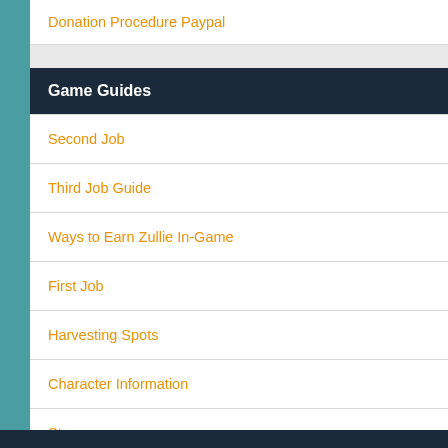Donation Procedure Paypal
Game Guides
Second Job
Third Job Guide
Ways to Earn Zullie In-Game
First Job
Harvesting Spots
Character Information
Storage
Character Name Change